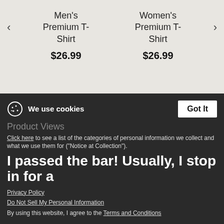[Figure (screenshot): E-commerce product carousel showing Men's Premium T-Shirt and Women's Premium T-Shirt, both $26.99, with navigation arrows and dot indicators]
Product Details
Description
Size hint
We use cookies
Product Views
Click here to see a list of the categories of personal information we collect and what we use them for ("Notice at Collection").
I passed the bar! Usually, I stop in for a
Privacy Policy
Do Not Sell My Personal Information
By using this website, I agree to the Terms and Conditions